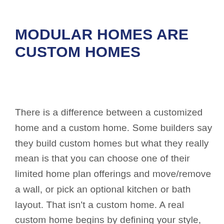MODULAR HOMES ARE CUSTOM HOMES
There is a difference between a customized home and a custom home. Some builders say they build custom homes but what they really mean is that you can choose one of their limited home plan offerings and move/remove a wall, or pick an optional kitchen or bath layout. That isn't a custom home. A real custom home begins by defining your style, how you live, and how you want your home to support you. Some of our